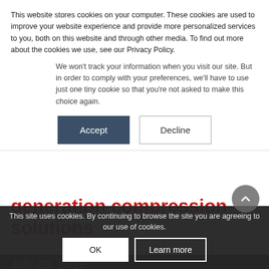This website stores cookies on your computer. These cookies are used to improve your website experience and provide more personalized services to you, both on this website and through other media. To find out more about the cookies we use, see our Privacy Policy.
We won't track your information when you visit our site. But in order to comply with your preferences, we'll have to use just one tiny cookie so that you're not asked to make this choice again.
Accept
Decline
generation compression solutions
July 20, 2018
This site uses cookies. By continuing to browse the site you are agreeing to our use of cookies.
OK
Learn more